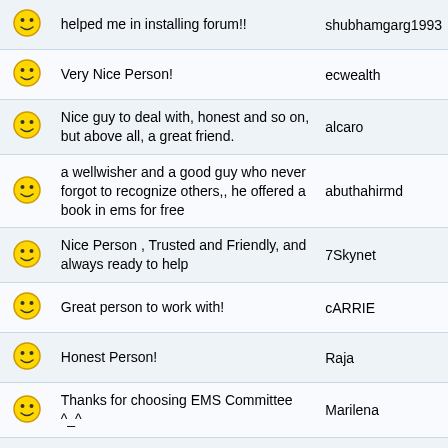|  | Comment | User |
| --- | --- | --- |
| 😊 | helped me in installing forum!! | shubhamgarg1993 |
| 😊 | Very Nice Person! | ecwealth |
| 😊 | Nice guy to deal with, honest and so on, but above all, a great friend. | alcaro |
| 😊 | a wellwisher and a good guy who never forgot to recognize others,, he offered a book in ems for free | abuthahirmd |
| 😊 | Nice Person , Trusted and Friendly, and always ready to help | 7Skynet |
| 😊 | Great person to work with! | cARRIE |
| 😊 | Honest Person! | Raja |
| 😊 | Thanks for choosing EMS Committee ^_^ | Marilena |
| 😊 | Topic: Calling out at ALL the PTC Community + Honest & helpful. | LexTalionis |
| 😊 | Very helpful | ptcscrutiny |
Pages: 1 [2] 3 4 ... 11
SMF Trader System